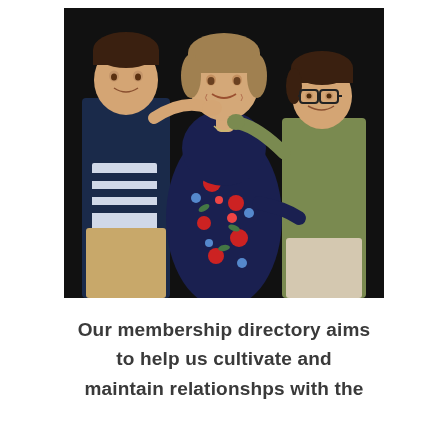[Figure (photo): Portrait photo of an older woman in a floral navy dress flanked by two young boys. The boy on the left wears a navy striped hoodie and khaki pants. The boy on the right wears a green cardigan and glasses. Dark background.]
Our membership directory aims to help us cultivate and maintain relationshps with the